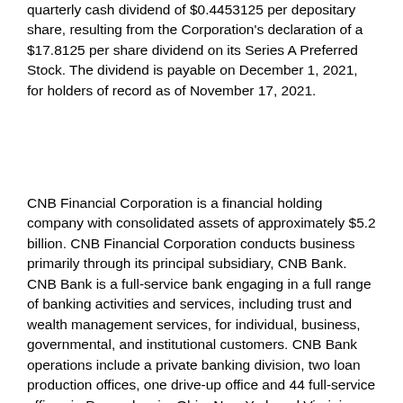quarterly cash dividend of $0.4453125 per depositary share, resulting from the Corporation's declaration of a $17.8125 per share dividend on its Series A Preferred Stock. The dividend is payable on December 1, 2021, for holders of record as of November 17, 2021.
CNB Financial Corporation is a financial holding company with consolidated assets of approximately $5.2 billion. CNB Financial Corporation conducts business primarily through its principal subsidiary, CNB Bank. CNB Bank is a full-service bank engaging in a full range of banking activities and services, including trust and wealth management services, for individual, business, governmental, and institutional customers. CNB Bank operations include a private banking division, two loan production offices, one drive-up office and 44 full-service offices in Pennsylvania, Ohio, New York and Virginia. CNB Bank's divisions include ERIEBANK, based in Erie, Pennsylvania, with offices in northwest Pennsylvania and northeast Ohio; FCBank, based in Worthington, Ohio, with offices in central BankOnBuffalo, based in Buffalo, New York, with offices in western New York; and Ridge View Bank, with a loan production office in Roanoke, Virginia. CNB Bank is headquartered in Clearfield, Pennsylvania, with offices in central and north central